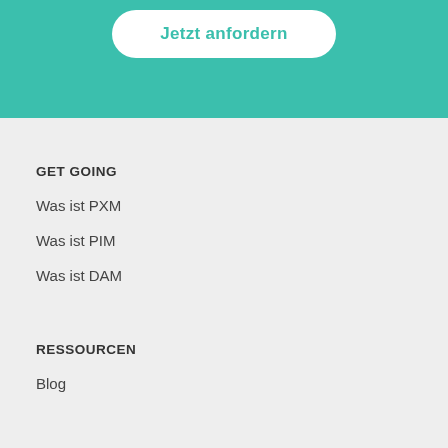[Figure (other): Teal/green background section with a white rounded button labeled 'Jetzt anfordern' in teal text]
GET GOING
Was ist PXM
Was ist PIM
Was ist DAM
RESSOURCEN
Blog